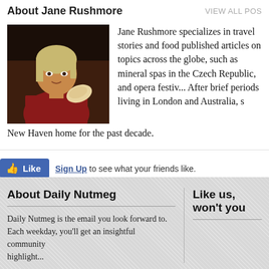About Jane Rushmore
VIEW ALL POS...
[Figure (photo): Photo of Jane Rushmore, a woman in a red top holding a large shell]
Jane Rushmore specializes in travel stories and food published articles on topics across the globe, such as mineral spas in the Czech Republic, and opera festiv... After brief periods living in London and Australia, s... New Haven home for the past decade.
Sign Up to see what your friends like.
About Daily Nutmeg
Daily Nutmeg is the email you look forward to. Each weekday, you'll get an insightful community highlight...
Like us, won't you